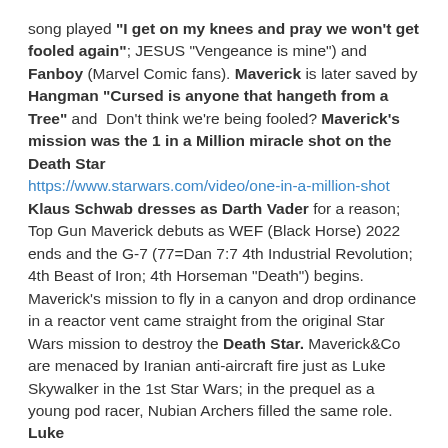song played "I get on my knees and pray we won't get fooled again"; JESUS "Vengeance is mine") and Fanboy (Marvel Comic fans). Maverick is later saved by Hangman "Cursed is anyone that hangeth from a Tree" and Don't think we're being fooled? Maverick's mission was the 1 in a Million miracle shot on the Death Star https://www.starwars.com/video/one-in-a-million-shot Klaus Schwab dresses as Darth Vader for a reason; Top Gun Maverick debuts as WEF (Black Horse) 2022 ends and the G-7 (77=Dan 7:7 4th Industrial Revolution; 4th Beast of Iron; 4th Horseman "Death") begins. Maverick's mission to fly in a canyon and drop ordinance in a reactor vent came straight from the original Star Wars mission to destroy the Death Star. Maverick&Co are menaced by Iranian anti-aircraft fire just as Luke Skywalker in the 1st Star Wars; in the prequel as a young pod racer, Nubian Archers filled the same role. Luke